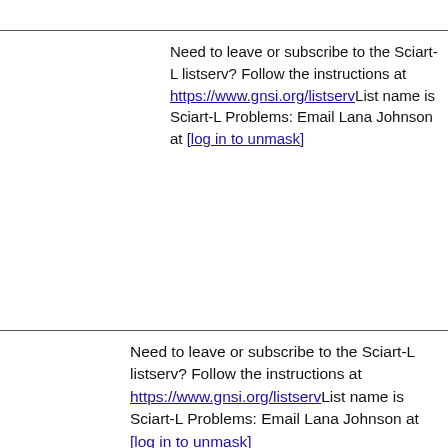Need to leave or subscribe to the Sciart-L listserv? Follow the instructions at https://www.gnsi.org/listservList name is Sciart-L Problems: Email Lana Johnson at [log in to unmask]
Need to leave or subscribe to the Sciart-L listserv? Follow the instructions at https://www.gnsi.org/listservList name is Sciart-L Problems: Email Lana Johnson at [log in to unmask]